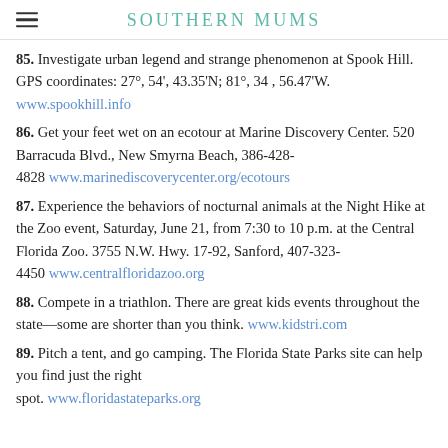SOUTHERN MUMS
85. Investigate urban legend and strange phenomenon at Spook Hill. GPS coordinates: 27°, 54', 43.35'N; 81°, 34 , 56.47'W. www.spookhill.info
86. Get your feet wet on an ecotour at Marine Discovery Center. 520 Barracuda Blvd., New Smyrna Beach, 386-428-4828 www.marinediscoverycenter.org/ecotours
87. Experience the behaviors of nocturnal animals at the Night Hike at the Zoo event, Saturday, June 21, from 7:30 to 10 p.m. at the Central Florida Zoo. 3755 N.W. Hwy. 17-92, Sanford, 407-323-4450 www.centralfloridazoo.org
88. Compete in a triathlon. There are great kids events throughout the state—some are shorter than you think. www.kidstri.com
89. Pitch a tent, and go camping. The Florida State Parks site can help you find just the right spot. www.floridastateparks.org